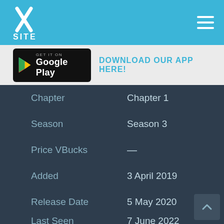XSITE logo and navigation header
[Figure (screenshot): Google Play Store badge with 'GET IT ON Google Play' text]
DOWNLOAD OUR APP HERE!
| Field | Value |
| --- | --- |
| Chapter | Chapter 1 |
| Season | Season 3 |
| Price VBucks | — |
| Added | 3 April 2019 |
| Release Date | 5 May 2020 |
| Last Seen | 7 June 2022 |